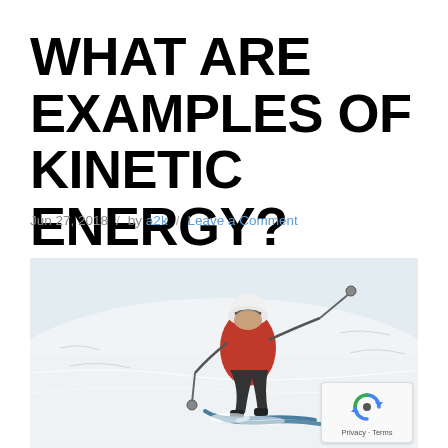WHAT ARE EXAMPLES OF KINETIC ENERGY?
Jun 27, 2018   /   by a2k   /   Leave a Comment
[Figure (photo): Skier in a red jacket and white helmet carving down a snowy slope, photographed from a low angle showing ski tips and poles.]